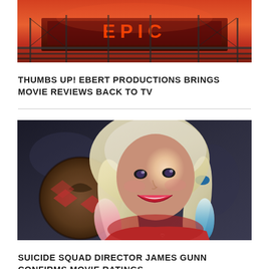[Figure (photo): Cinema or theater sign with red/orange glowing neon background, scaffolding visible]
THUMBS UP! EBERT PRODUCTIONS BRINGS MOVIE REVIEWS BACK TO TV
[Figure (photo): Margot Robbie as Harley Quinn from Suicide Squad, smiling and holding a mallet, wearing pigtails with red and blue tips]
SUICIDE SQUAD DIRECTOR JAMES GUNN CONFIRMS MOVIE RATINGS